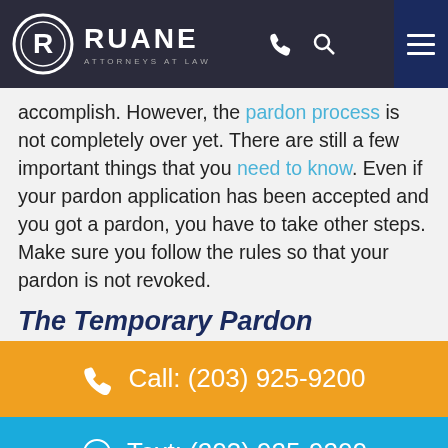Ruane Attorneys at Law
accomplish. However, the pardon process is not completely over yet. There are still a few important things that you need to know. Even if your pardon application has been accepted and you got a pardon, you have to take other steps. Make sure you follow the rules so that your pardon is not revoked.
The Temporary Pardon
Call: (203) 925-9200
Text: (203) 925-9200